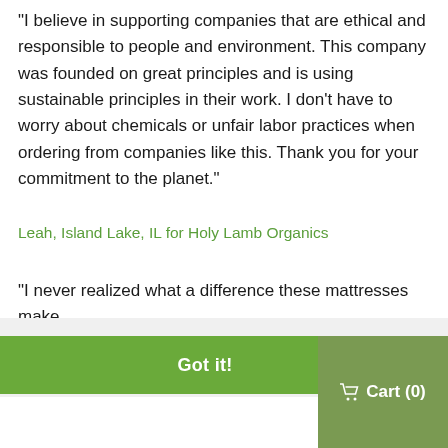“I believe in supporting companies that are ethical and responsible to people and environment. This company was founded on great principles and is using sustainable principles in their work. I don’t have to worry about chemicals or unfair labor practices when ordering from companies like this. Thank you for your commitment to the planet.”
Leah, Island Lake, IL for Holy Lamb Organics
"I never realized what a difference these mattresses make
This website uses cookies to ensure you get the best experience on our website. Learn more
Got it!
Cart (0)